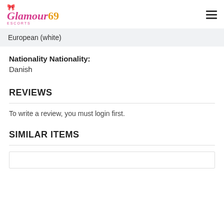Glamour Escorts 69 [logo] [hamburger menu]
European (white)
Nationality Nationality: Danish
REVIEWS
To write a review, you must login first.
SIMILAR ITEMS